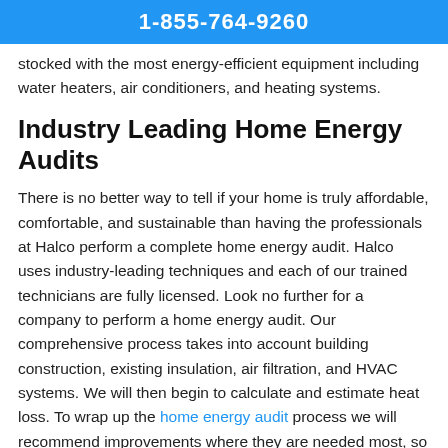1-855-764-9260
stocked with the most energy-efficient equipment including water heaters, air conditioners, and heating systems.
Industry Leading Home Energy Audits
There is no better way to tell if your home is truly affordable, comfortable, and sustainable than having the professionals at Halco perform a complete home energy audit. Halco uses industry-leading techniques and each of our trained technicians are fully licensed. Look no further for a company to perform a home energy audit. Our comprehensive process takes into account building construction, existing insulation, air filtration, and HVAC systems. We will then begin to calculate and estimate heat loss. To wrap up the home energy audit process we will recommend improvements where they are needed most, so your home will be as efficient and comfortable as possible.